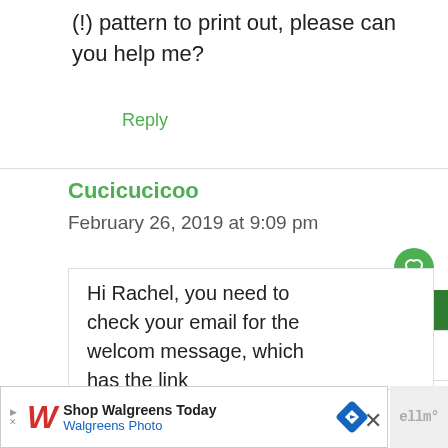(!) pattern to print out, please can you help me?
Reply
Cucicucicoo
February 26, 2019 at 9:09 pm
Hi Rachel, you need to check your email for the welcom message, which has the link
[Figure (infographic): Walgreens advertisement bar at bottom of page showing Walgreens logo, 'Shop Walgreens Today' and 'Walgreens Photo' text with navigation arrow icon and close button]
[Figure (infographic): Social share overlay button (green) in upper right of comment, and 'What's Next' panel showing 'Repairing holes in...' with thumbnail image]